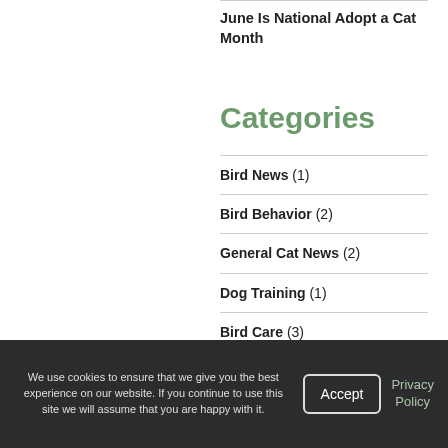June Is National Adopt a Cat Month
Categories
Bird News (1)
Bird Behavior (2)
General Cat News (2)
Dog Training (1)
Bird Care (3)
Pet care (7)
Horse Care (2)
Adoptions (3)
Behavior (7)
We use cookies to ensure that we give you the best experience on our website. If you continue to use this site we will assume that you are happy with it.
Accept
Privacy Policy